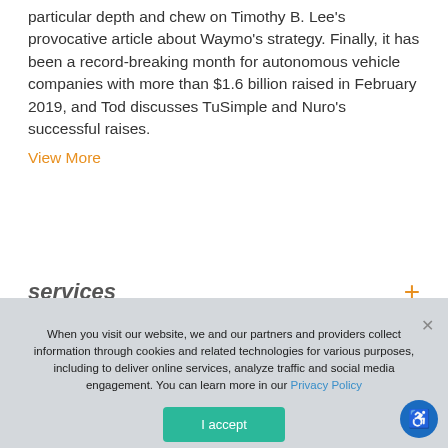particular depth and chew on Timothy B. Lee's provocative article about Waymo's strategy. Finally, it has been a record-breaking month for autonomous vehicle companies with more than $1.6 billion raised in February 2019, and Tod discusses TuSimple and Nuro's successful raises.
View More
services
When you visit our website, we and our partners and providers collect information through cookies and related technologies for various purposes, including to deliver online services, analyze traffic and social media engagement. You can learn more in our Privacy Policy